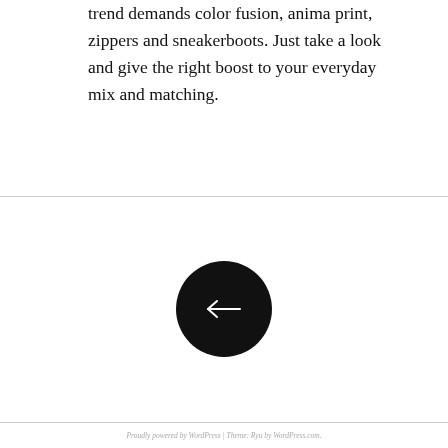trend demands color fusion, anima print, zippers and sneakerboots. Just take a look and give the right boost to your everyday mix and matching.
[Figure (other): Black circle button with a left-pointing arrow inside, used as a navigation previous button]
Proudly powered by WordPress | Theme: Ryu by WordPress.com.